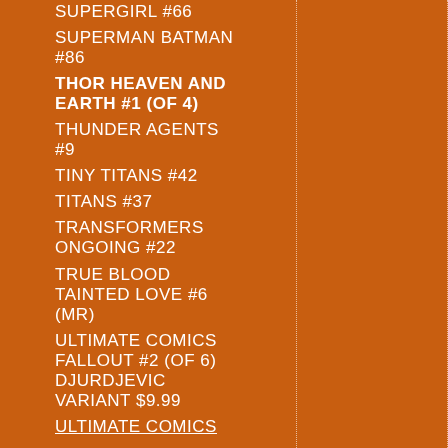SUPERGIRL #66
SUPERMAN BATMAN #86
THOR HEAVEN AND EARTH #1 (OF 4)
THUNDER AGENTS #9
TINY TITANS #42
TITANS #37
TRANSFORMERS ONGOING #22
TRUE BLOOD TAINTED LOVE #6 (MR)
ULTIMATE COMICS FALLOUT #2 (OF 6) DJURDJEVIC VARIANT $9.99
ULTIMATE COMICS